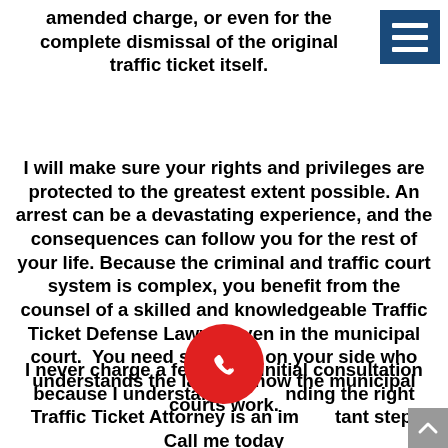amended charge, or even for the complete dismissal of the original traffic ticket itself.
[Figure (other): Dark blue hamburger/menu icon with three white horizontal lines]
I will make sure your rights and privileges are protected to the greatest extent possible. An arrest can be a devastating experience, and the consequences can follow you for the rest of your life. Because the criminal and traffic court system is complex, you benefit from the counsel of a skilled and knowledgeable Traffic Ticket Defense Lawyer even in the municipal court. You need someone on your side who understands the law and how the municipal courts work.
I never charge a fee for an initial consultation because I understand finding the right Traffic Ticket Attorney is an important step. Call me today
[Figure (other): Red circular phone/call button with white phone handset icon]
[Figure (other): Grey scroll-to-top arrow button in bottom right corner]